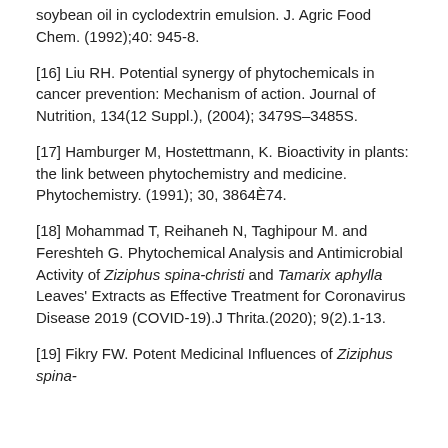soybean oil in cyclodextrin emulsion. J. Agric Food Chem. (1992);40: 945-8.
[16] Liu RH. Potential synergy of phytochemicals in cancer prevention: Mechanism of action. Journal of Nutrition, 134(12 Suppl.), (2004); 3479S–3485S.
[17] Hamburger M, Hostettmann, K. Bioactivity in plants: the link between phytochemistry and medicine. Phytochemistry. (1991); 30, 3864È74.
[18] Mohammad T, Reihaneh N, Taghipour M. and Fereshteh G. Phytochemical Analysis and Antimicrobial Activity of Ziziphus spina-christi and Tamarix aphylla Leaves' Extracts as Effective Treatment for Coronavirus Disease 2019 (COVID-19).J Thrita.(2020); 9(2).1-13.
[19] Fikry FW. Potent Medicinal Influences of Ziziphus spina-